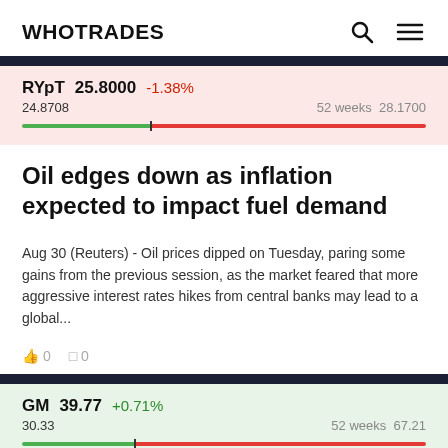WHOTRADES
[Figure (infographic): Stock ticker for RYpT: price 25.8000, change -1.38%, 52-week range 24.8708 to 28.1700 with range bar]
Oil edges down as inflation expected to impact fuel demand
Aug 30 (Reuters) - Oil prices dipped on Tuesday, paring some gains from the previous session, as the market feared that more aggressive interest rates hikes from central banks may lead to a global...
0  0
[Figure (infographic): Stock ticker for GM: price 39.77, change +0.71%, 52-week range 30.33 to 67.21 with range bar]
Vehicle pedestrian safety systems